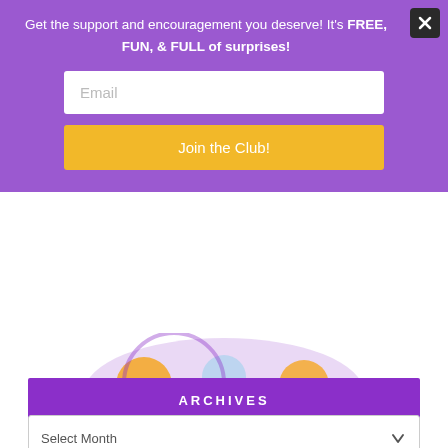Get the support and encouragement you deserve! It's FREE, FUN, & FULL of surprises!
[Figure (screenshot): Email input field with placeholder text 'Email']
[Figure (screenshot): Yellow 'Join the Club!' button]
[Figure (illustration): Welcome! We're glad you're here! - colorful illustrated welcome graphic with cartoon characters]
ARCHIVES
Select Month